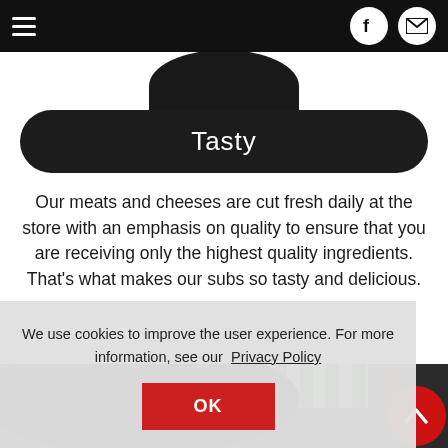Navigation bar with hamburger menu, Facebook icon, and mail icon
[Figure (photo): Partial view of a dark plate/bowl from above, cropped at top]
Tasty
Our meats and cheeses are cut fresh daily at the store with an emphasis on quality to ensure that you are receiving only the highest quality ingredients. That's what makes our subs so tasty and delicious.
[Figure (photo): Partial view of a dark plate with green and white checkered paper liner, and food items visible at bottom, with a red scroll-to-top button in the bottom right]
We use cookies to improve the user experience. For more information, see our Privacy Policy
OK